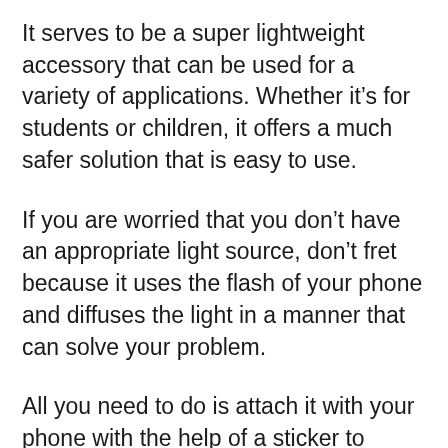It serves to be a super lightweight accessory that can be used for a variety of applications. Whether it’s for students or children, it offers a much safer solution that is easy to use.
If you are worried that you don’t have an appropriate light source, don’t fret because it uses the flash of your phone and diffuses the light in a manner that can solve your problem.
All you need to do is attach it with your phone with the help of a sticker to begin